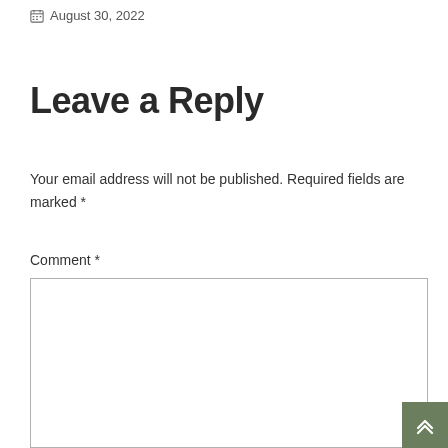August 30, 2022
Leave a Reply
Your email address will not be published. Required fields are marked *
Comment *